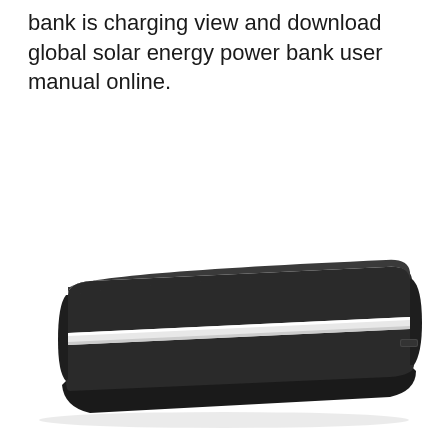bank is charging view and download global solar energy power bank user manual online.
[Figure (photo): Side view of a slim black rectangular solar energy power bank with a white/silver horizontal stripe accent running along its length, shown at a slight angle against a white background.]